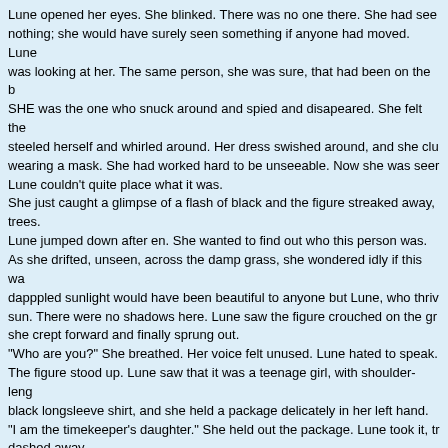Lune opened her eyes. She blinked. There was no one there. She had see nothing; she would have surely seen something if anyone had moved. Lune was looking at her. The same person, she was sure, that had been on the b SHE was the one who snuck around and spied and disapeared. She felt the steeled herself and whirled around. Her dress swished around, and she clu wearing a mask. She had worked hard to be unseeable. Now she was see Lune couldn't quite place what it was.
She just caught a glimpse of a flash of black and the figure streaked away, trees.
Lune jumped down after en. She wanted to find out who this person was.
As she drifted, unseen, across the damp grass, she wondered idly if this wa dapppled sunlight would have been beautiful to anyone but Lune, who thriv sun. There were no shadows here. Lune saw the figure crouched on the gr she crept forward and finally sprung out.
"Who are you?" She breathed. Her voice felt unused. Lune hated to speak.
The figure stood up. Lune saw that it was a teenage girl, with shoulder-leng black longsleeve shirt, and she held a package delicately in her left hand.
"I am the timekeeper's daughter." She held out the package. Lune took it, tr dashed away.
She sat down and peeled the delicate paper off the parcel. What fell into he holding a ring-but not just any ring. It was carved with symbols and number somehow held an aura of great wisdom and wealth. Lune slipped it on her t
0   0
44
Mago Berry
in December 6th, 2010 @ 14:31
((I NEED BISMARK FOR INTERACTIONS!!!!!))